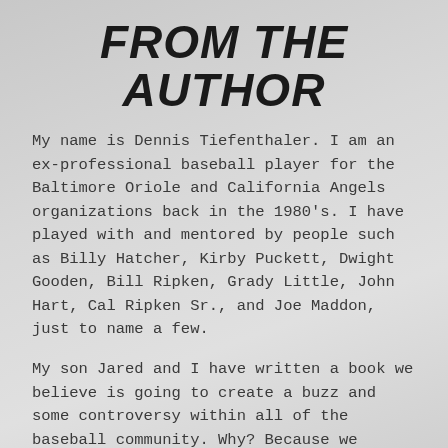FROM THE AUTHOR
My name is Dennis Tiefenthaler. I am an ex-professional baseball player for the Baltimore Oriole and California Angels organizations back in the 1980's. I have played with and mentored by people such as Billy Hatcher, Kirby Puckett, Dwight Gooden, Bill Ripken, Grady Little, John Hart, Cal Ripken Sr., and Joe Maddon, just to name a few.
My son Jared and I have written a book we believe is going to create a buzz and some controversy within all of the baseball community. Why? Because we believe we are saying things about hitting a baseball at the highest level of the game that never have been written before. For the first time in baseball history, we believe that